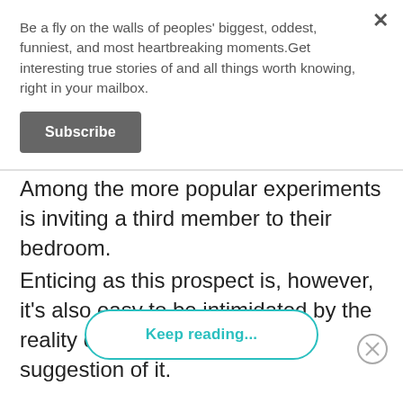Be a fly on the walls of peoples' biggest, oddest, funniest, and most heartbreaking moments.Get interesting true stories of and all things worth knowing, right in your mailbox.
Subscribe
Among the more popular experiments is inviting a third member to their bedroom.
Enticing as this prospect is, however, it's also easy to be intimidated by the reality of it, or even the mere suggestion of it.
Keep reading...